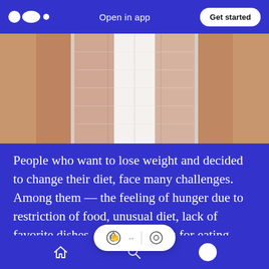Open in app  Get started
[Figure (photo): Close-up photo of a person wearing a white corset or waist trainer, showing legs/torso area with brown skin tones]
People who want to lose weight and decided to change their diet, face many challenges. Among them — the feeling of hunger due to restriction of food, unusual diet, lack of favorite dishes, changing tables for eating. These and other factors are psychologically quite difficult for humans; so many people just quit dieting soon after starting it. It is rightly noticed,
Home  Search  Profile